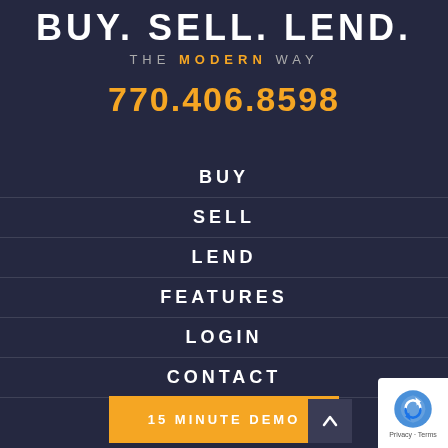BUY. SELL. LEND.
THE MODERN WAY
770.406.8598
BUY
SELL
LEND
FEATURES
LOGIN
CONTACT
LEGAL STUFF
15 MINUTE DEMO